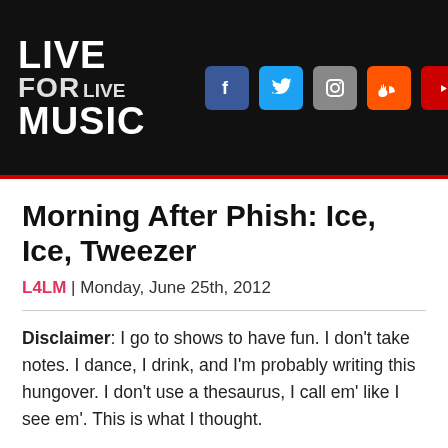LIVE FOR LIVE MUSIC
Morning After Phish: Ice, Ice, Tweezer
L4LM | Monday, June 25th, 2012
Disclaimer: I go to shows to have fun. I don't take notes. I dance, I drink, and I'm probably writing this hungover. I don't use a thesaurus, I call em' like I see em'. This is what I thought.
Last night Phish returned to Ohio for the second time this weekend, this time to the Blossom Music Center in Cuyahoga Falls. This was their last show before taking a three